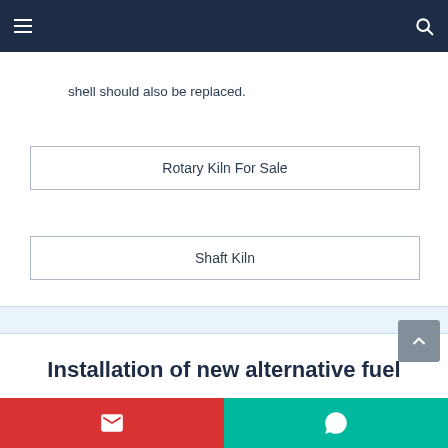Navigation bar with menu and search icons
shell should also be replaced.
Rotary Kiln For Sale
Shaft Kiln
Installation of new alternative fuel